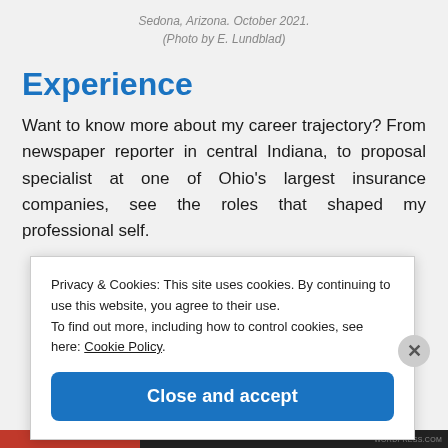Sedona, Arizona. October 2021.
(Photo by E. Lundblad)
Experience
Want to know more about my career trajectory? From newspaper reporter in central Indiana, to proposal specialist at one of Ohio's largest insurance companies, see the roles that shaped my professional self.
Privacy & Cookies: This site uses cookies. By continuing to use this website, you agree to their use.
To find out more, including how to control cookies, see here: Cookie Policy
Close and accept